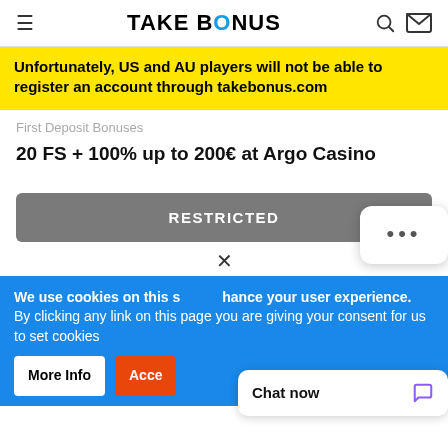TAKE BONUS
Unfortunately, US and AU players will not be able to register an account through takebonus.com
First Deposit Bonuses
20 FS + 100% up to 200€ at Argo Casino
RESTRICTED
We use cookies on this site to enhance your user experience. By clicking any link on this page you are giving your consent for us to set cookies
More Info
Accept
Chat now